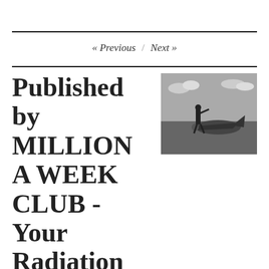« Previous / Next »
Published by MILLION A WEEK CLUB - Your Radiation This Week - by Bob Nichols
[Figure (photo): Black and white photograph of a person in flight gear standing beside a WWII-era aircraft, arm outstretched pointing.]
"Bob Nichols is a Project Censored Award winner